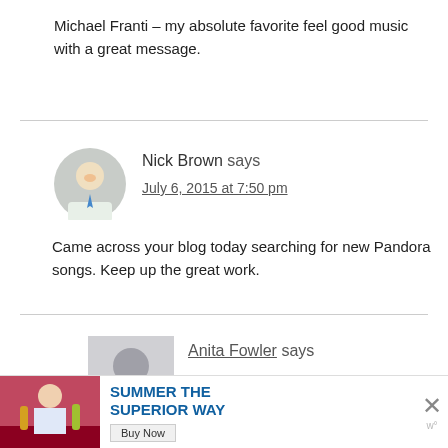Michael Franti – my absolute favorite feel good music with a great message.
Nick Brown says
July 6, 2015 at 7:50 pm
Came across your blog today searching for new Pandora songs. Keep up the great work.
Anita Fowler says
July 6, 2015 at 9:51 pm
Thank you very much Nick! Glad to
[Figure (photo): Advertisement banner: photo of person with drinks, text 'SUMMER THE SUPERIOR WAY' in blue, Buy Now button, close X button]